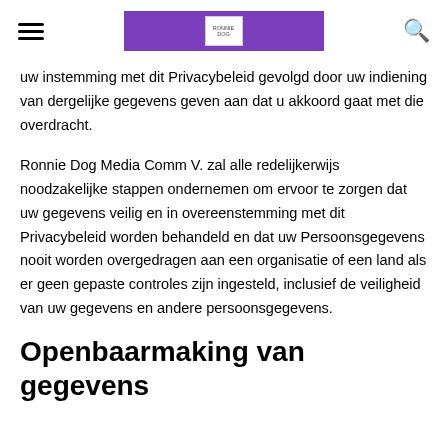[hamburger menu] [Ronnie Dog Media logo] [search icon]
uw instemming met dit Privacybeleid gevolgd door uw indiening van dergelijke gegevens geven aan dat u akkoord gaat met die overdracht.
Ronnie Dog Media Comm V. zal alle redelijkerwijs noodzakelijke stappen ondernemen om ervoor te zorgen dat uw gegevens veilig en in overeenstemming met dit Privacybeleid worden behandeld en dat uw Persoonsgegevens nooit worden overgedragen aan een organisatie of een land als er geen gepaste controles zijn ingesteld, inclusief de veiligheid van uw gegevens en andere persoonsgegevens.
Openbaarmaking van gegevens